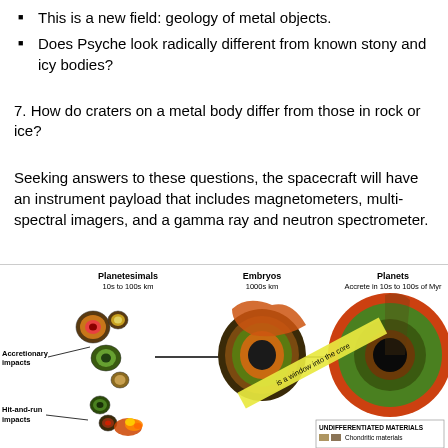This is a new field: geology of metal objects.
Does Psyche look radically different from known stony and icy bodies?
7. How do craters on a metal body differ from those in rock or ice?
Seeking answers to these questions, the spacecraft will have an instrument payload that includes magnetometers, multi-spectral imagers, and a gamma ray and neutron spectrometer.
[Figure (illustration): Diagram showing planetary formation stages: Planetesimals (10s to 100s km), Embryos (1000s km), and Planets (Accrete in 10s to 100s of Myr), with labels for Accretionary impacts and Hit-and-run impacts. Cross-sections of differentiated bodies shown with layered interiors (core, mantle, crust). A yellow band labeled 'is a window into the core' points to the largest planet diagram. A legend shows Undifferentiated materials and Chondritic materials.]